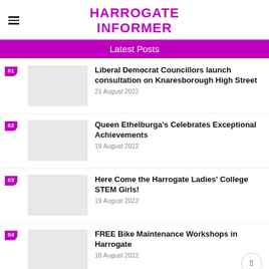HARROGATE INFORMER
Latest Posts
Liberal Democrat Councillors launch consultation on Knaresborough High Street
21 August 2022
Queen Ethelburga's Celebrates Exceptional Achievements
19 August 2022
Here Come the Harrogate Ladies' College STEM Girls!
19 August 2022
FREE Bike Maintenance Workshops in Harrogate
18 August 2022